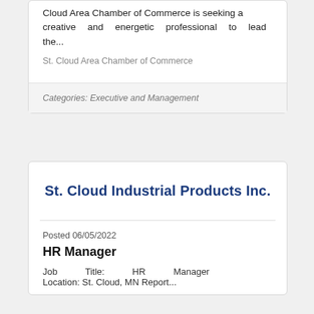Cloud Area Chamber of Commerce is seeking a creative and energetic professional to lead the...
St. Cloud Area Chamber of Commerce
Categories: Executive and Management
St. Cloud Industrial Products Inc.
Posted 06/05/2022
HR Manager
Job Title: HR Manager Location: St. Cloud, MN Report...